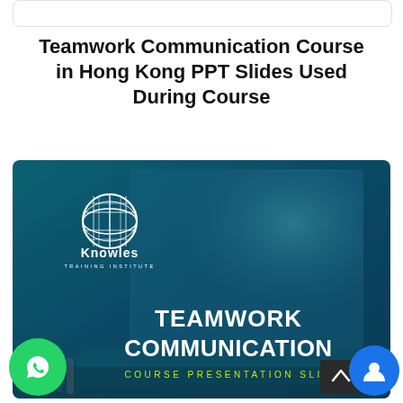Teamwork Communication Course in Hong Kong PPT Slides Used During Course
[Figure (illustration): Presentation slide thumbnail showing a laptop on a desk with teal/dark blue overlay. Knowles Training Institute globe logo in white at top-left. Bold white text reads 'TEAMWORK COMMUNICATION' with yellow spaced text 'COURSE PRESENTATION SLID' below.]